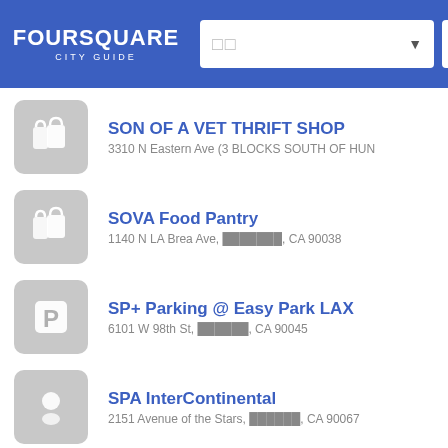FOURSQUARE CITY GUIDE
SON OF A VET THRIFT SHOP
3310 N Eastern Ave (3 BLOCKS SOUTH OF HUN
SOVA Food Pantry
1140 N LA Brea Ave, ██████, CA 90038
SP+ Parking @ Easy Park LAX
6101 W 98th St, ██████, CA 90045
SPA InterContinental
2151 Avenue of the Stars, ██████, CA 90067
SPARADISE
1251 S LA Brea Ave (San vicente), ██████, CA 9001
SPOKE & WEAL LA